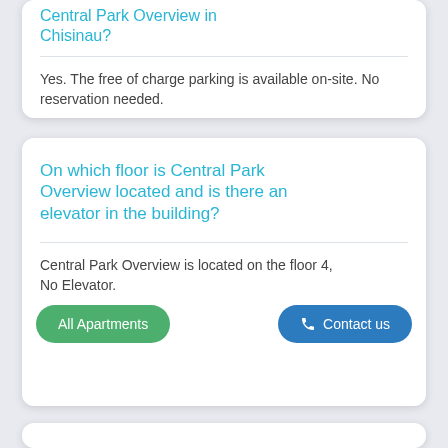Central Park Overview in Chisinau?
Yes. The free of charge parking is available on-site. No reservation needed.
On which floor is Central Park Overview located and is there an elevator in the building?
Central Park Overview is located on the floor 4, No Elevator.
All Apartments
Contact us